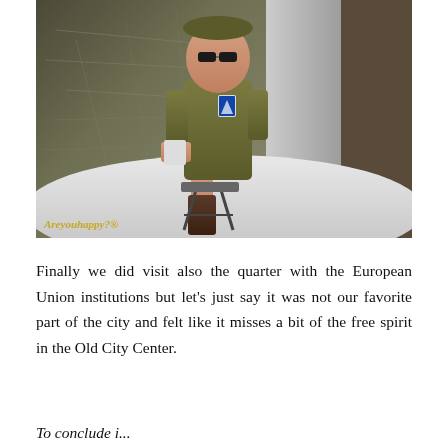[Figure (photo): A person dressed in a military-style olive green uniform and sunglasses, sitting on a stool and holding a small card/booklet, photographed against a large map background. The photo has a fisheye-like perspective with a white curved surface in the foreground. A watermark 'Areyouhappy?®' appears in gold italic text at the bottom left.]
Finally we did visit also the quarter with the European Union institutions but let's just say it was not our favorite part of the city and felt like it misses a bit of the free spirit in the Old City Center.
To conclude i...